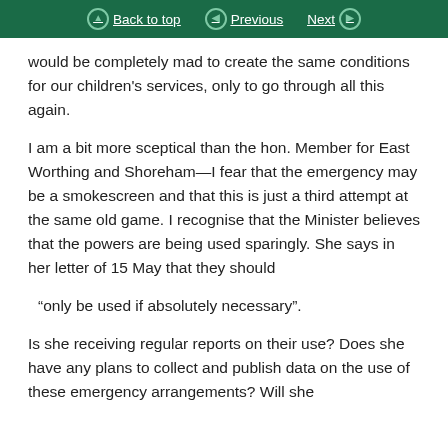Back to top | Previous | Next
would be completely mad to create the same conditions for our children's services, only to go through all this again.
I am a bit more sceptical than the hon. Member for East Worthing and Shoreham—I fear that the emergency may be a smokescreen and that this is just a third attempt at the same old game. I recognise that the Minister believes that the powers are being used sparingly. She says in her letter of 15 May that they should
“only be used if absolutely necessary”.
Is she receiving regular reports on their use? Does she have any plans to collect and publish data on the use of these emergency arrangements? Will she